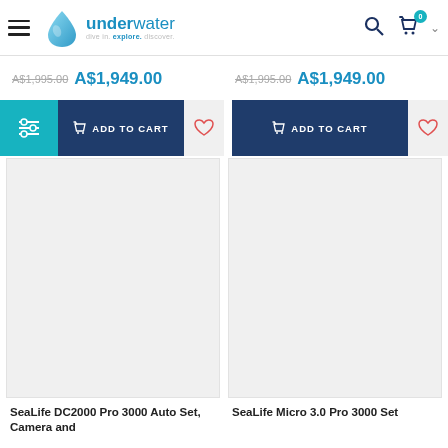[Figure (screenshot): Underwater website logo with drop icon and tagline 'dive in. explore. discover.']
A$1,995.00 A$1,949.00
A$1,995.00 A$1,949.00
[Figure (screenshot): ADD TO CART button (dark navy) with cart icon, and heart wishlist button on left product]
[Figure (screenshot): ADD TO CART button (dark navy) with cart icon, and heart wishlist button on right product]
[Figure (photo): Product image placeholder for SeaLife DC2000 Pro 3000 Auto Set Camera and product]
[Figure (photo): Product image placeholder for SeaLife Micro 3.0 Pro 3000 Set]
SeaLife DC2000 Pro 3000 Auto Set, Camera and...
SeaLife Micro 3.0 Pro 3000 Set...